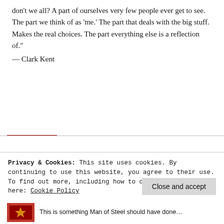don't we all? A part of ourselves very few people ever get to see. The part we think of as 'me.' The part that deals with the big stuff. Makes the real choices. The part everything else is a reflection of." — Clark Kent
Superman: Red Sun
An Elseworlds tale, asking what if Superman had landed in Soviet Russia instead of Kansas. It's a fun story with an amazingly clever ending. Its
Privacy & Cookies: This site uses cookies. By continuing to use this website, you agree to their use.
To find out more, including how to control cookies, see here: Cookie Policy
Close and accept